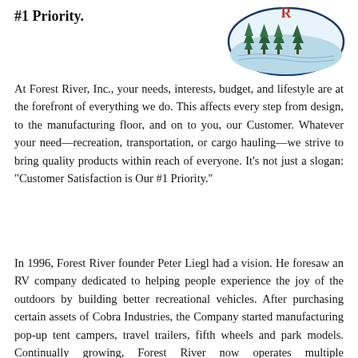#1 Priority.
[Figure (logo): Forest River Inc. circular logo with pine trees, mountains, and a river scene; red 'R' letter at top]
At Forest River, Inc., your needs, interests, budget, and lifestyle are at the forefront of everything we do. This affects every step from design, to the manufacturing floor, and on to you, our Customer. Whatever your need—recreation, transportation, or cargo hauling—we strive to bring quality products within reach of everyone. It's not just a slogan: "Customer Satisfaction is Our #1 Priority."
In 1996, Forest River founder Peter Liegl had a vision. He foresaw an RV company dedicated to helping people experience the joy of the outdoors by building better recreational vehicles. After purchasing certain assets of Cobra Industries, the Company started manufacturing pop-up tent campers, travel trailers, fifth wheels and park models. Continually growing, Forest River now operates multiple manufacturing facilities throughout the United States producing Class A, B and C motorhomes, travel trailers, fifth wheels, toy haulers, pop-up tent campers, truck campers, park model trailers, destination trailers